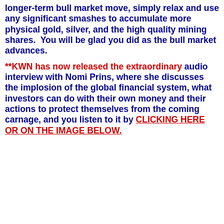longer-term bull market move, simply relax and use any significant smashes to accumulate more physical gold, silver, and the high quality mining shares.  You will be glad you did as the bull market advances.
**KWN has now released the extraordinary audio interview with Nomi Prins, where she discusses the implosion of the global financial system, what investors can do with their own money and their actions to protect themselves from the coming carnage, and you listen to it by CLICKING HERE OR ON THE IMAGE BELOW.